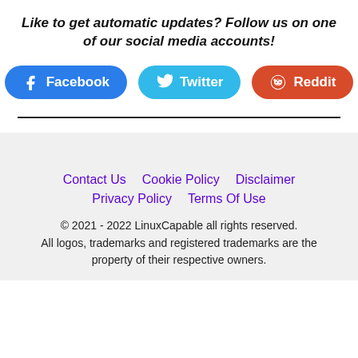Like to get automatic updates? Follow us on one of our social media accounts!
[Figure (infographic): Three social media buttons: Facebook (blue), Twitter (cyan), Reddit (orange-red)]
Contact Us   Cookie Policy   Disclaimer   Privacy Policy   Terms Of Use
© 2021 - 2022 LinuxCapable all rights reserved. All logos, trademarks and registered trademarks are the property of their respective owners.